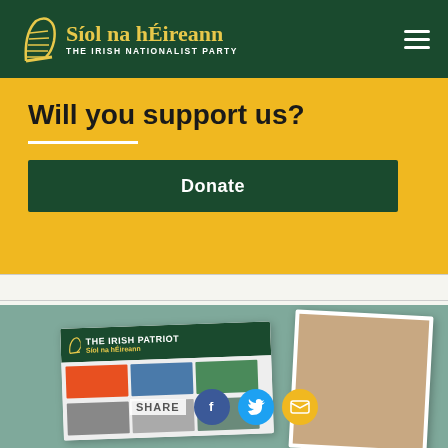[Figure (logo): Síol na hÉireann – The Irish Nationalist Party logo with harp icon on dark green header bar]
Will you support us?
[Figure (other): Green Donate button]
[Figure (other): The Irish Patriot / Síol na hÉireann newsletter mockup and portrait on teal background with share buttons (Facebook, Twitter, email)]